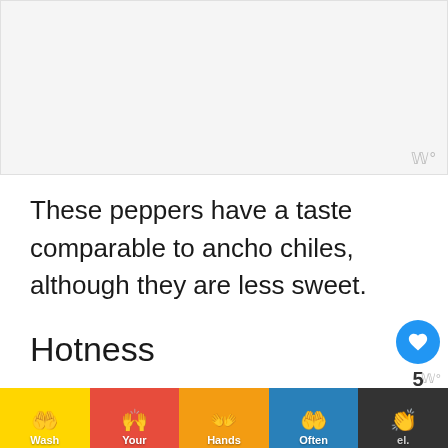[Figure (other): Advertisement placeholder box with watermark logo in bottom right corner]
These peppers have a taste comparable to ancho chiles, although they are less sweet.
Hotness
Poblano peppers are mild chili peppers
They range from 1,000-2,000 on the Scoville scale.
[Figure (infographic): Wash Your Hands Often advertisement banner with colorful hand-washing icons on yellow, red, orange, blue, and dark backgrounds]